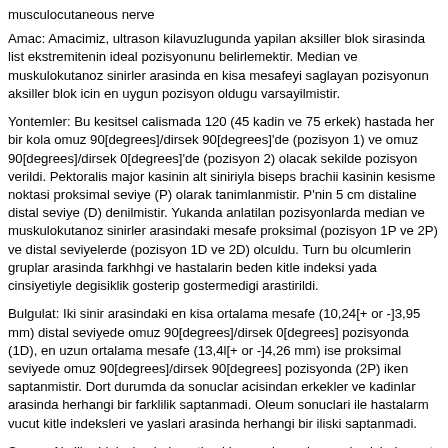musculocutaneous nerve
Amac: Amacimiz, ultrason kilavuzlugunda yapilan aksiller blok sirasinda list ekstremitenin ideal pozisyonunu belirlemektir. Median ve muskulokutanoz sinirler arasinda en kisa mesafeyi saglayan pozisyonun aksiller blok icin en uygun pozisyon oldugu varsayilmistir.
Yontemler: Bu kesitsel calismada 120 (45 kadin ve 75 erkek) hastada her bir kola omuz 90[degrees]/dirsek 90[degrees]'de (pozisyon 1) ve omuz 90[degrees]/dirsek 0[degrees]'de (pozisyon 2) olacak sekilde pozisyon verildi. Pektoralis major kasinin alt siniriyla biseps brachii kasinin kesisme noktasi proksimal seviye (P) olarak tanimlanmistir. P'nin 5 cm distaline distal seviye (D) denilmistir. Yukanda anlatilan pozisyonlarda median ve muskulokutanoz sinirler arasindaki mesafe proksimal (pozisyon 1P ve 2P) ve distal seviyelerde (pozisyon 1D ve 2D) olculdu. Turn bu olcumlerin gruplar arasinda farkhhgi ve hastalarin beden kitle indeksi yada cinsiyetiyle degisiklik gosterip gostermedigi arastirildi.
Bulgulat: Iki sinir arasindaki en kisa ortalama mesafe (10,24[+ or -]3,95 mm) distal seviyede omuz 90[degrees]/dirsek 0[degrees] pozisyonda (1D), en uzun ortalama mesafe (13,4l[+ or -]4,26 mm) ise proksimal seviyede omuz 90[degrees]/dirsek 90[degrees] pozisyonda (2P) iken saptanmistir. Dort durumda da sonuclar acisindan erkekler ve kadinlar arasinda herhangi bir farklilik saptanmadi. Oleum sonuclari ile hastalarm vucut kitle indeksleri ve yaslari arasinda herhangi bir iliski saptanmadi.
Sonuc: Aksiller blok sirasinda optimal basannin saglanmasi acisindan ust ekstremitenin uygun pozisyona getirilmesi onemlidir. Boylece, islem guvenle ve etkinlikle, daha dusuk miktarda lokal anestezik kullanilarak ve infiltrasyon sirasinda daha az ayida manevra ile gerceklestirilebilir.